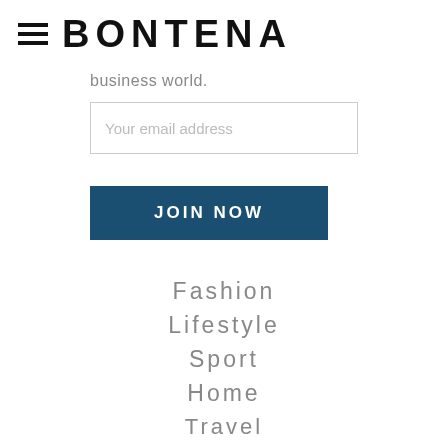BONTENA
business world.
Your email address
JOIN NOW
Fashion
Lifestyle
Sport
Home
Travel
Real Estate
Business
Lists